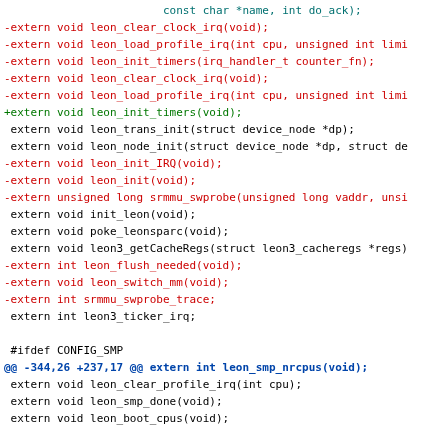Source code diff showing changes to leon-related extern declarations in a C header file, including removed lines (red, prefixed with -), added lines (green, prefixed with +), context lines (black), and a diff hunk header (blue).